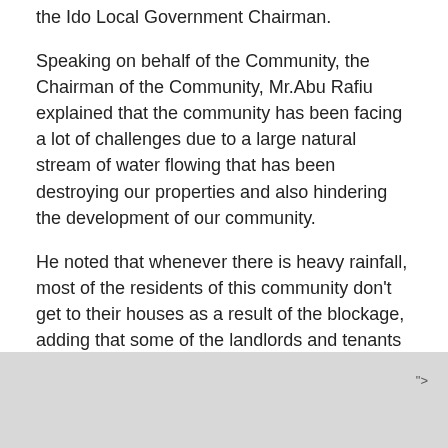the Ido Local Government Chairman.
Speaking on behalf of the Community, the Chairman of the Community, Mr.Abu Rafiu explained that the community has been facing a lot of challenges due to a large natural stream of water flowing that has been destroying our properties and also hindering the development of our community.
He noted that whenever there is heavy rainfall, most of the residents of this community don’t get to their houses as a result of the blockage, adding that some of the landlords and tenants sleep in their cars with their family members till day breaks.
He, therefore, appealed to the executive governor of Oyo
">